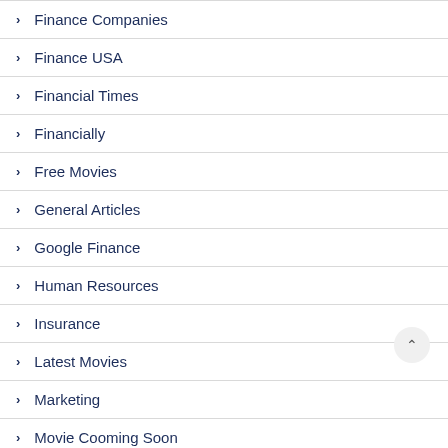Finance Companies
Finance USA
Financial Times
Financially
Free Movies
General Articles
Google Finance
Human Resources
Insurance
Latest Movies
Marketing
Movie Cooming Soon